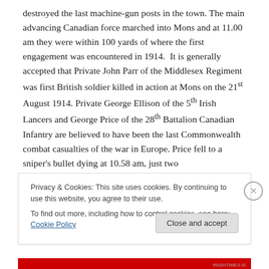destroyed the last machine-gun posts in the town. The main advancing Canadian force marched into Mons and at 11.00 am they were within 100 yards of where the first engagement was encountered in 1914.  It is generally accepted that Private John Parr of the Middlesex Regiment was first British soldier killed in action at Mons on the 21st August 1914. Private George Ellison of the 5th Irish Lancers and George Price of the 28th Battalion Canadian Infantry are believed to have been the last Commonwealth combat casualties of the war in Europe. Price fell to a sniper's bullet dying at 10.58 am, just two
Privacy & Cookies: This site uses cookies. By continuing to use this website, you agree to their use.
To find out more, including how to control cookies, see here: Cookie Policy